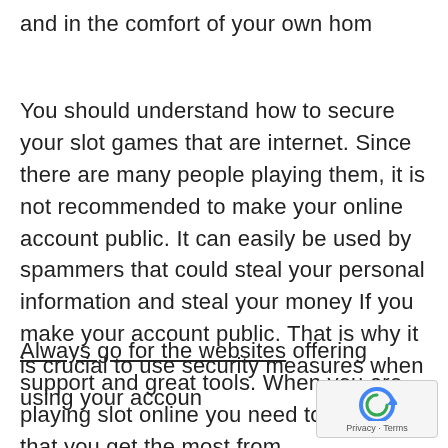and in the comfort of your own hom
You should understand how to secure your slot games that are internet. Since there are many people playing them, it is not recommended to make your online account public. It can easily be used by spammers that could steal your personal information and steal your money If you make your account public. That is why it is crucial to use security measures when using your accoun
Always go for the websites offering support and great tools. When you are playing slot online you need to be certain that you get the most from
[Figure (other): reCAPTCHA privacy badge with circular arrow icon and 'Privacy - Terms' text]